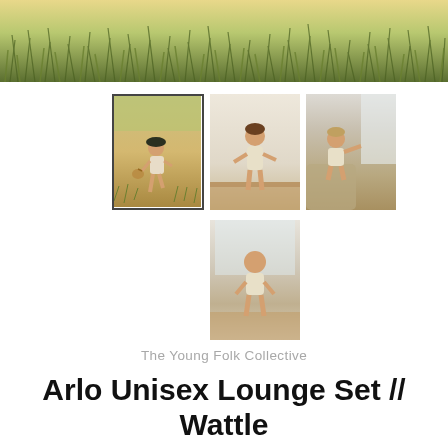[Figure (photo): Top banner image showing grass/field close-up, green and yellow tones]
[Figure (photo): Thumbnail 1 (selected/bordered): Young child walking in sunny field wearing light romper and hat, carrying basket]
[Figure (photo): Thumbnail 2: Young toddler standing indoors on patterned rug, wearing light wattle lounge set, smiling]
[Figure (photo): Thumbnail 3: Young toddler standing on sofa/chair near window, wearing light wattle lounge set, pointing]
[Figure (photo): Thumbnail 4: Young toddler standing near window indoors on rug, back turned, wearing light wattle lounge set]
The Young Folk Collective
Arlo Unisex Lounge Set // Wattle